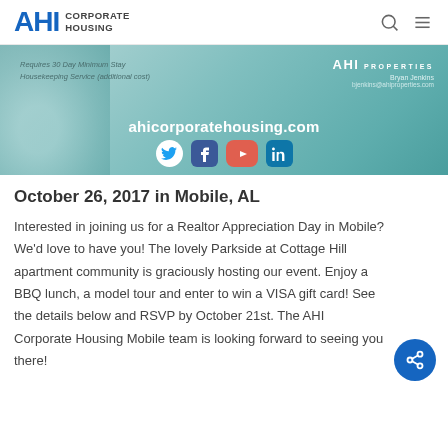AHI Corporate Housing
[Figure (photo): AHI Corporate Housing promotional banner with social media icons (Twitter, Facebook, YouTube, LinkedIn), website ahicorporatehousing.com, contact info for Bryan Jenkins at AHI Properties, and text about housekeeping service and 30-day minimum stay.]
October 26, 2017 in Mobile, AL
Interested in joining us for a Realtor Appreciation Day in Mobile? We'd love to have you! The lovely Parkside at Cottage Hill apartment community is graciously hosting our event. Enjoy a BBQ lunch, a model tour and enter to win a VISA gift card! See the details below and RSVP by October 21st. The AHI Corporate Housing Mobile team is looking forward to seeing you there!